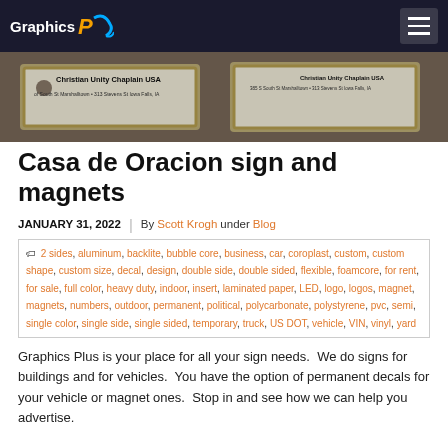Graphics Plus
[Figure (photo): Photo of business card magnets for Christian Unity Chaplain USA showing gold-bordered cards with address text in Iowa Falls, IA]
Casa de Oracion sign and magnets
JANUARY 31, 2022 | By Scott Krogh under Blog
2 sides, aluminum, backlite, bubble core, business, car, coroplast, custom, custom shape, custom size, decal, design, double side, double sided, flexible, foamcore, for rent, for sale, full color, heavy duty, indoor, insert, laminated paper, LED, logo, logos, magnet, magnets, numbers, outdoor, permanent, political, polycarbonate, polystyrene, pvc, semi, single color, single side, single sided, temporary, truck, US DOT, vehicle, VIN, vinyl, yard
Graphics Plus is your place for all your sign needs.  We do signs for buildings and for vehicles.  You have the option of permanent decals for your vehicle or magnet ones.  Stop in and see how we can help you advertise.